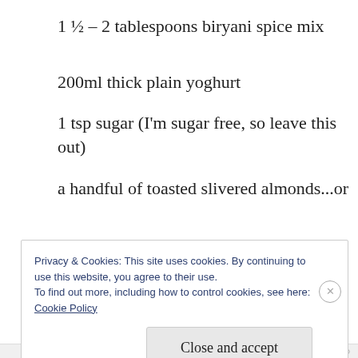1 ½ – 2 tablespoons biryani spice mix
200ml thick plain yoghurt
1 tsp sugar (I'm sugar free, so leave this out)
a handful of toasted slivered almonds...or
Privacy & Cookies: This site uses cookies. By continuing to use this website, you agree to their use.
To find out more, including how to control cookies, see here: Cookie Policy
REPORT THIS AD